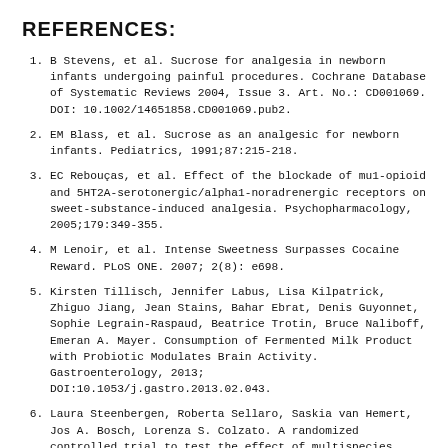REFERENCES:
B Stevens, et al. Sucrose for analgesia in newborn infants undergoing painful procedures. Cochrane Database of Systematic Reviews 2004, Issue 3. Art. No.: CD001069. DOI: 10.1002/14651858.CD001069.pub2.
EM Blass, et al. Sucrose as an analgesic for newborn infants. Pediatrics, 1991;87:215-218.
EC Rebouças, et al. Effect of the blockade of mu1-opioid and 5HT2A-serotonergic/alpha1-noradrenergic receptors on sweet-substance-induced analgesia. Psychopharmacology, 2005;179:349-355.
M Lenoir, et al. Intense Sweetness Surpasses Cocaine Reward. PLoS ONE. 2007; 2(8): e698.
Kirsten Tillisch, Jennifer Labus, Lisa Kilpatrick, Zhiguo Jiang, Jean Stains, Bahar Ebrat, Denis Guyonnet, Sophie Legrain-Raspaud, Beatrice Trotin, Bruce Naliboff, Emeran A. Mayer. Consumption of Fermented Milk Product with Probiotic Modulates Brain Activity. Gastroenterology, 2013; DOI:10.1053/j.gastro.2013.02.043.
Laura Steenbergen, Roberta Sellaro, Saskia van Hemert, Jos A. Bosch, Lorenza S. Colzato. A randomized controlled trial to test the effect of multispecies probiotics on cognitive reactivity to sad mood.